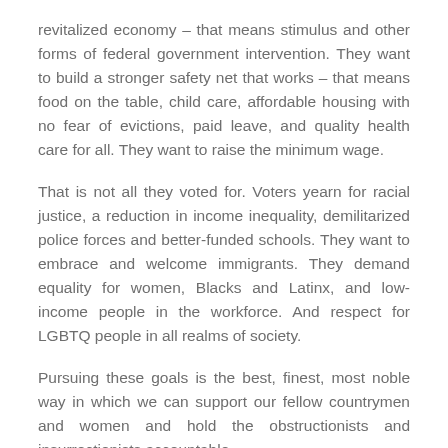revitalized economy – that means stimulus and other forms of federal government intervention. They want to build a stronger safety net that works – that means food on the table, child care, affordable housing with no fear of evictions, paid leave, and quality health care for all. They want to raise the minimum wage.
That is not all they voted for. Voters yearn for racial justice, a reduction in income inequality, demilitarized police forces and better-funded schools. They want to embrace and welcome immigrants. They demand equality for women, Blacks and Latinx, and low-income people in the workforce. And respect for LGBTQ people in all realms of society.
Pursuing these goals is the best, finest, most noble way in which we can support our fellow countrymen and women and hold the obstructionists and insurrectionists accountable.